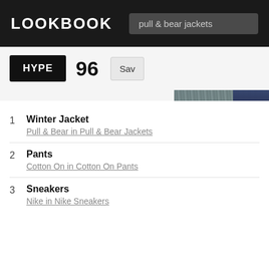LOOKBOOK   pull & bear jackets
[Figure (photo): Outdoor fashion photo showing a person in a winter jacket and colorful sneakers standing on sandy/snowy ground with dry grass in the background, partially cropped on the right side of the page]
HYPE  96  Sav
1  Winter Jacket
Pull & Bear in Pull & Bear Jackets
2  Pants
Cotton On in Cotton On Pants
3  Sneakers
Nike in Nike Sneakers